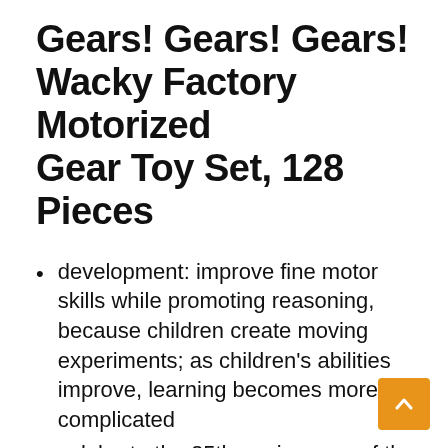Gears! Gears! Gears! Wacky Factory Motorized Gear Toy Set, 128 Pieces
development: improve fine motor skills while promoting reasoning, because children create moving experiments; as children's abilities improve, learning becomes more complicated
celebrate the 25th anniversary of the birth of gears! in 2019, stimu imagination in colorful sports!